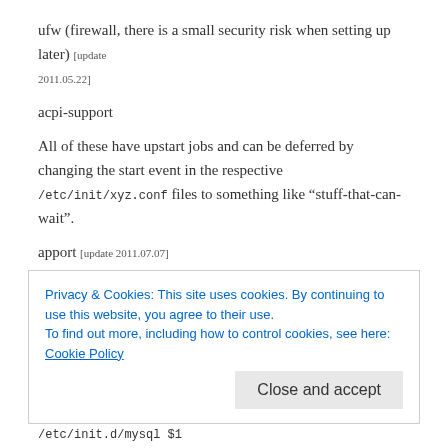ufw (firewall, there is a small security risk when setting up later) [update 2011.05.22]
acpi-support
All of these have upstart jobs and can be deferred by changing the start event in the respective /etc/init/xyz.conf files to something like “stuff-that-can-wait”.
apport [update 2011.07.07]
A new script in /etc/init.d/stuff-that-can-wait can then execute these
Privacy & Cookies: This site uses cookies. By continuing to use this website, you agree to their use.
To find out more, including how to control cookies, see here: Cookie Policy
Close and accept
/etc/init.d/mysql $1